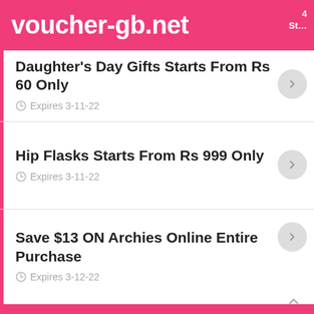voucher-gb.net
Daughter's Day Gifts Starts From Rs 60 Only — Expires 3-11-22
Hip Flasks Starts From Rs 999 Only — Expires 3-11-22
Save $13 ON Archies Online Entire Purchase — Expires 3-12-22